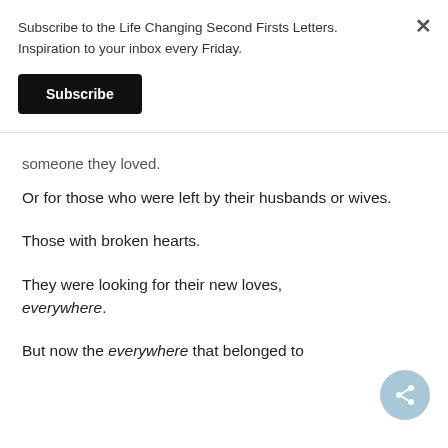Subscribe to the Life Changing Second Firsts Letters. Inspiration to your inbox every Friday.
Subscribe
someone they loved.
Or for those who were left by their husbands or wives.
Those with broken hearts.
They were looking for their new loves, everywhere.
But now the everywhere that belonged to